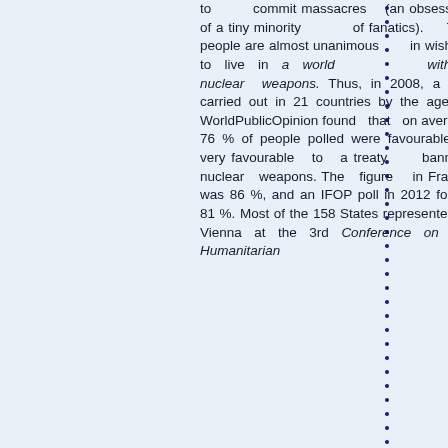to commit massacres (an obsession of a tiny minority of fanatics). The people are almost unanimous in wishing to live in a world without nuclear weapons. Thus, in 2008, a poll carried out in 21 countries by the agency WorldPublicOpinion found that on average 76 % of people polled were favourable or very favourable to a treaty banning nuclear weapons. The figure in France was 86 %, and an IFOP poll in 2012 found 81 %. Most of the 158 States represented in Vienna at the 3rd Conference on the Humanitarian...